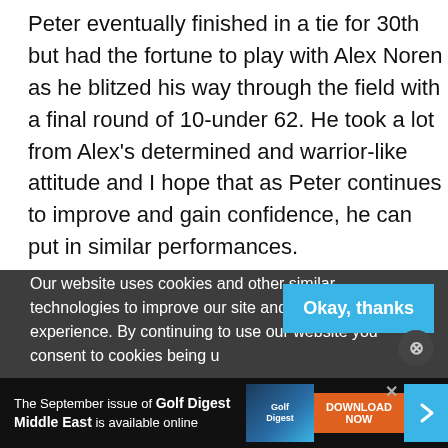Peter eventually finished in a tie for 30th but had the fortune to play with Alex Noren as he blitzed his way through the field with a final round of 10-under 62. He took a lot from Alex's determined and warrior-like attitude and I hope that as Peter continues to improve and gain confidence, he can put in similar performances.
Justin Parsons is the Director of Instruction at The Butch Harmon School of Golf at The Els Club, Dubai. Among his pupils is celebrated Dubai-based Indian amateur No.1 Rayhan Thomas.
Our website uses cookies and other similar technologies to improve our site and your online experience. By continuing to use our website you consent to cookies being u...
The September issue of Golf Digest Middle East is available online